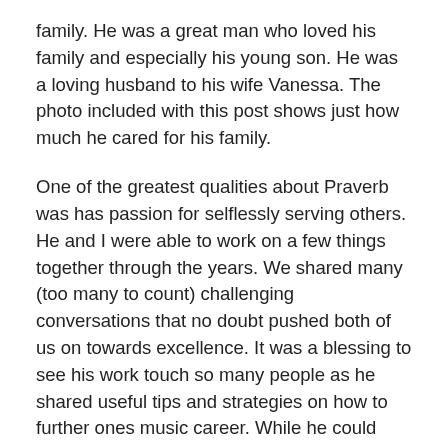family. He was a great man who loved his family and especially his young son. He was a loving husband to his wife Vanessa. The photo included with this post shows just how much he cared for his family.
One of the greatest qualities about Praverb was has passion for selflessly serving others. He and I were able to work on a few things together through the years. We shared many (too many to count) challenging conversations that no doubt pushed both of us on towards excellence. It was a blessing to see his work touch so many people as he shared useful tips and strategies on how to further ones music career. While he could have used that time for himself to push his own music, he instead chose to give to others first.
We'd recently started talking about doing new music and possibly helping get his album out via ILLECT Recordings. If you knew Ill...